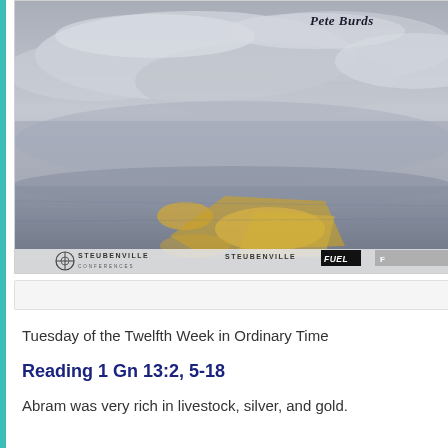[Figure (photo): Aerial or landscape photo with cloudy sky and patches of golden light on terrain. Bottom shows Steubenville Conferences and Steubenville FUEL logos. Top right shows italic bold text 'Pete Burds'.]
Tuesday of the Twelfth Week in Ordinary Time
Reading 1 Gn 13:2, 5-18
Abram was very rich in livestock, silver, and gold.